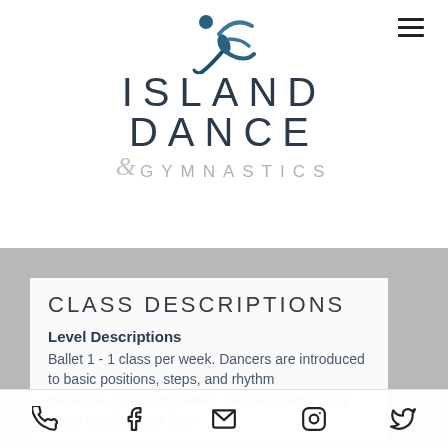[Figure (logo): Island Dance & Gymnastics logo with a dancer silhouette in teal/blue above the text ISLAND DANCE & GYMNASTICS]
CLASS DESCRIPTIONS
Level Descriptions
Ballet 1 - 1 class per week. Dancers are introduced to basic positions, steps, and rhythm
Ballet 2A - 1class per week. Dancers begin tying steps together and learn...
Phone | Facebook | Email | Instagram | Twitter